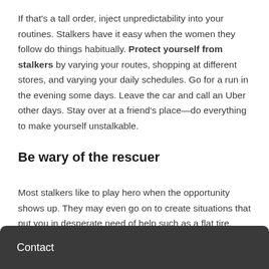If that's a tall order, inject unpredictability into your routines. Stalkers have it easy when the women they follow do things habitually. Protect yourself from stalkers by varying your routes, shopping at different stores, and varying your daily schedules. Go for a run in the evening some days. Leave the car and call an Uber other days. Stay over at a friend's place—do everything to make yourself unstalkable.
Be wary of the rescuer
Most stalkers like to play hero when the opportunity shows up. They may even go on to create situations that put you in desperate need of help such as a flat tire, running out of gas, or a car that doesn't start. They then use that opportunity to get close to you.
Contact